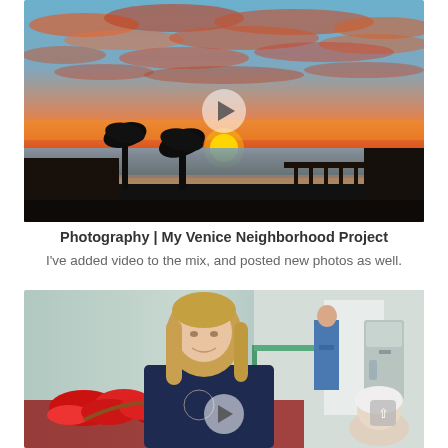[Figure (photo): Dramatic sunset over Venice Beach with silhouettes of palm trees and a pier. Orange and red clouds fill the sky. A video play button overlay is shown in the center.]
Photography | My Venice Neighborhood Project
I've added video to the mix, and posted new photos as well.
[Figure (photo): A young blonde woman smiling and leaning over a basket of red flowers in what appears to be a hospital ward. Medical equipment and staff visible in background. A video play button is shown at the bottom center.]